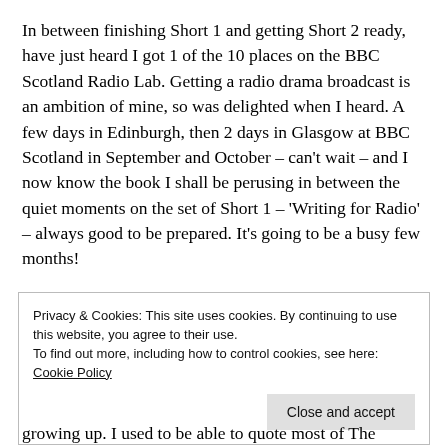In between finishing Short 1 and getting Short 2 ready, have just heard I got 1 of the 10 places on the BBC Scotland Radio Lab. Getting a radio drama broadcast is an ambition of mine, so was delighted when I heard. A few days in Edinburgh, then 2 days in Glasgow at BBC Scotland in September and October – can't wait – and I now know the book I shall be perusing in between the quiet moments on the set of Short 1 – 'Writing for Radio' – always good to be prepared. It's going to be a busy few months!
Privacy & Cookies: This site uses cookies. By continuing to use this website, you agree to their use.
To find out more, including how to control cookies, see here: Cookie Policy
Close and accept
growing up. I used to be able to quote most of The